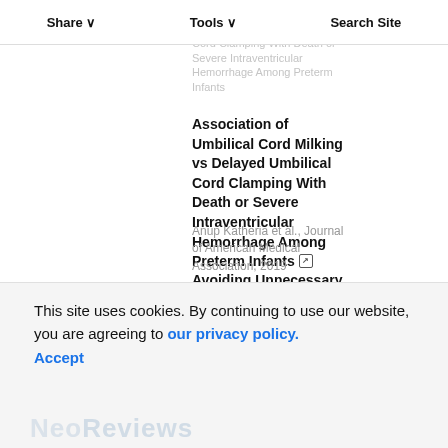Share   Tools   Search Site
Association of Umbilical Cord Milking vs Delayed Umbilical Cord Clamping With Death or Severe Intraventricular Hemorrhage Among Preterm Infants
Anup Katheria et al., Journal of American Medical Association, 2019
Avoiding Unnecessary Antibiotic Exposure in Premature Infants: Understanding When (Not) to Start and When to Stop
Matthew J. Bizzarro, JAMA Network Open, 2018
Powered by TREND MD
This site uses cookies. By continuing to use our website, you are agreeing to our privacy policy. Accept